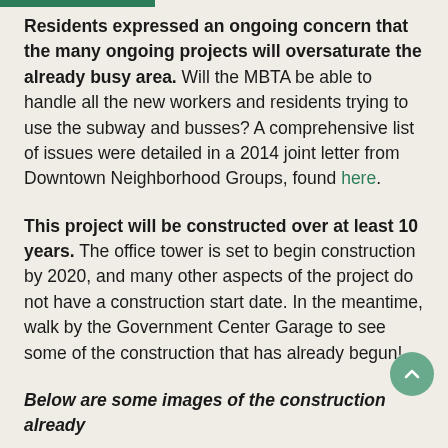Residents expressed an ongoing concern that the many ongoing projects will oversaturate the already busy area. Will the MBTA be able to handle all the new workers and residents trying to use the subway and busses? A comprehensive list of issues were detailed in a 2014 joint letter from Downtown Neighborhood Groups, found here.
This project will be constructed over at least 10 years. The office tower is set to begin construction by 2020, and many other aspects of the project do not have a construction start date. In the meantime, walk by the Government Center Garage to see some of the construction that has already begun!
Below are some images of the construction already